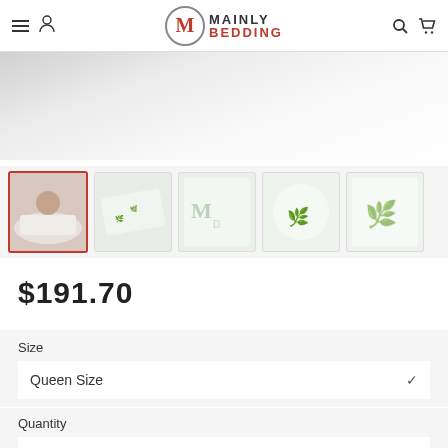Mainly Bedding
[Figure (photo): Close-up photo of a white pillow on a bed, soft blurred background]
[Figure (photo): Five product thumbnail images showing bamboo pillow from different angles]
$191.70
Size
Queen Size
Quantity